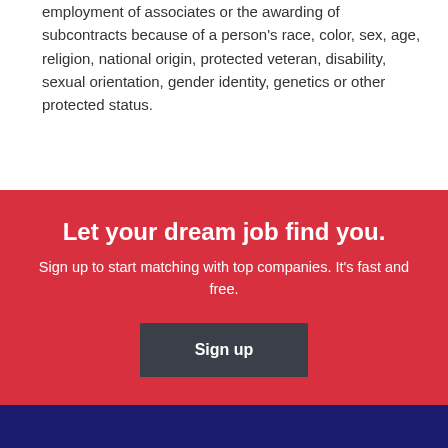employment of associates or the awarding of subcontracts because of a person's race, color, sex, age, religion, national origin, protected veteran, disability, sexual orientation, gender identity, genetics or other protected status.
Let your dream job find you.
Sign up to start matching with top companies. It's fast and free.
Sign up